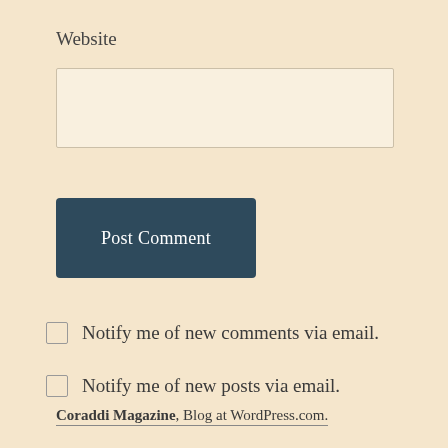Website
[Figure (other): Text input field for website URL]
[Figure (other): Post Comment button, dark teal/navy background, white text]
Notify me of new comments via email.
Notify me of new posts via email.
Coraddi Magazine, Blog at WordPress.com.